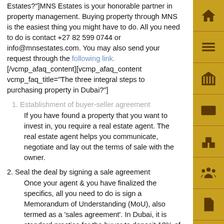Estates?"]MNS Estates is your honorable partner in property management. Buying property through MNS is the easiest thing you might have to do. All you need to do is contact +27 82 599 0744 or info@mnsestates.com. You may also send your request through the following link.[/vcmp_afaq_content][vcmp_afaq_content vcmp_faq_title="The three integral steps to purchasing property in Dubai?"]
1. Establishment of buyer-seller agreement
If you have found a property that you want to invest in, you require a real estate agent. The real estate agent helps you communicate, negotiate and lay out the terms of sale with the owner.
2. Seal the deal by signing a sale agreement
Once your agent & you have finalized the specifics, all you need to do is sign a Memorandum of Understanding (MoU), also termed as a 'sales agreement'. In Dubai, it is standard practice for the buyer to deposit 10% of the property value to the seller.